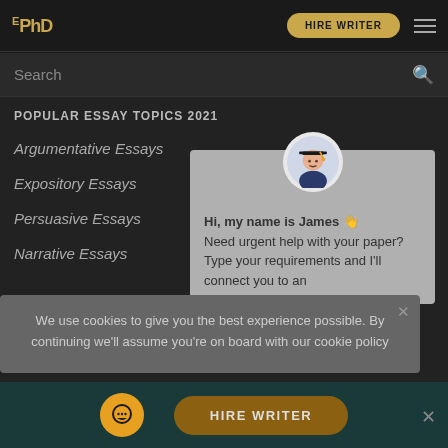EPhD — HIRE WRITER
Search
POPULAR ESSAY TOPICS 2021
Argumentative Essays
Expository Essays
Persuasive Essays
Narrative Essays
[Figure (illustration): Chat popup with avatar of a student in graduation cap, showing message: Hi, my name is James 👋 Need urgent help with your paper? Type your requirements and I'll connect you to an]
We use cookies to give you the best experience possible. By continuing we'll assume you're on board with our cookie policy
HIRE WRITER